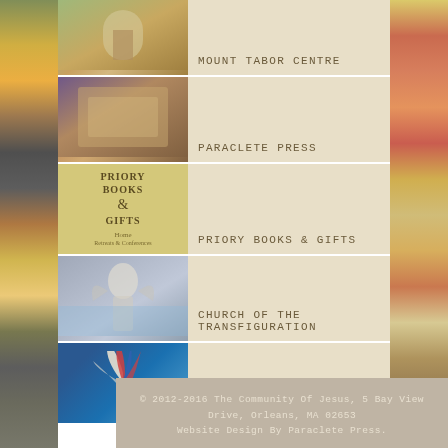MOUNT TABOR CENTRE
PARACLETE PRESS
PRIORY BOOKS & GIFTS
CHURCH OF THE TRANSFIGURATION
GLORIAE DEI ARTES FOUNDATION
© 2012-2016 The Community Of Jesus, 5 Bay View Drive, Orleans, MA 02653 Website Design By Paraclete Press.